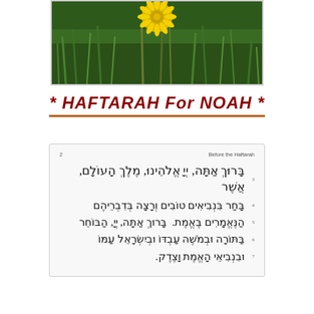[Figure (photo): A yellow dandelion flower against a green grass background, photographed outdoors]
* HAFTARAH For NOAH *
|  | Before the Haftarah |
| --- | --- |
| 3 | בָּרוּךְ אַתָּה, יְיָ אֱלֹהֵינוּ, מֶלֶךְ הָעוֹלָם, אֲשֶׁר |
| 4 | בָּחַר בִּנְבִיאִים טוֹבִים וְרָצָה בְּדִבְרֵיהֶם |
| 5 | הַנֶּאֱמָרִים בֶּאֱמֶת.  בָּרוּךְ אַתָּה, יְיָ, הַבּוֹחֵר |
| 6 | בַּתּוֹרָה וּבְמֹשֶׁה עַבְדּוֹ וּבְיִשְׂרָאֵל עַמּוֹ |
| 7 | וּבִנְבִיאֵי הָאֱמֶת וָצֶדֶק. |